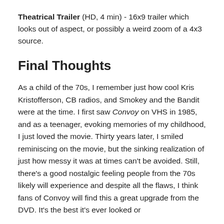Theatrical Trailer (HD, 4 min) - 16x9 trailer which looks out of aspect, or possibly a weird zoom of a 4x3 source.
Final Thoughts
As a child of the 70s, I remember just how cool Kris Kristofferson, CB radios, and Smokey and the Bandit were at the time. I first saw Convoy on VHS in 1985, and as a teenager, evoking memories of my childhood, I just loved the movie. Thirty years later, I smiled reminiscing on the movie, but the sinking realization of just how messy it was at times can't be avoided. Still, there's a good nostalgic feeling people from the 70s likely will experience and despite all the flaws, I think fans of Convoy will find this a great upgrade from the DVD. It's the best it's ever looked or